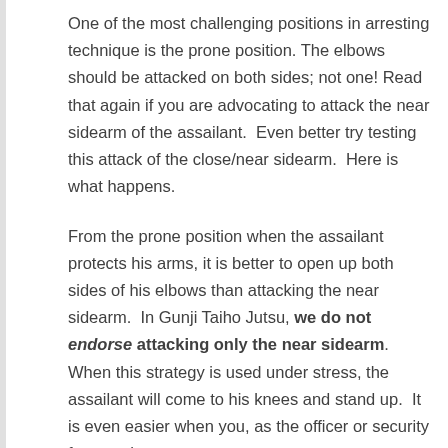One of the most challenging positions in arresting technique is the prone position. The elbows should be attacked on both sides; not one! Read that again if you are advocating to attack the near sidearm of the assailant.  Even better try testing this attack of the close/near sidearm.  Here is what happens.
From the prone position when the assailant protects his arms, it is better to open up both sides of his elbows than attacking the near sidearm.  In Gunji Taiho Jutsu, we do not endorse attacking only the near sidearm. When this strategy is used under stress, the assailant will come to his knees and stand up.  It is even easier when you, as the officer or security forces, change